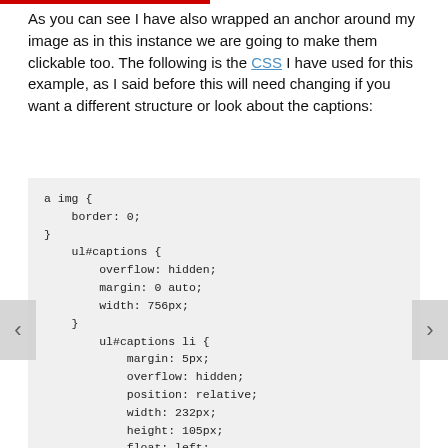As you can see I have also wrapped an anchor around my image as in this instance we are going to make them clickable too. The following is the CSS I have used for this example, as I said before this will need changing if you want a different structure or look about the captions:
[Figure (screenshot): Code block showing CSS for a img, ul#captions, and ul#captions li rules]